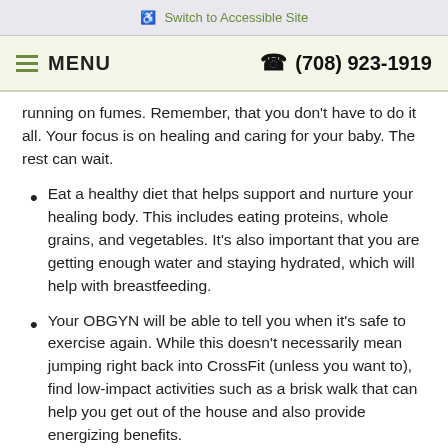♿ Switch to Accessible Site
≡ MENU  ☎ (708) 923-1919
running on fumes. Remember, that you don't have to do it all. Your focus is on healing and caring for your baby. The rest can wait.
Eat a healthy diet that helps support and nurture your healing body. This includes eating proteins, whole grains, and vegetables. It's also important that you are getting enough water and staying hydrated, which will help with breastfeeding.
Your OBGYN will be able to tell you when it's safe to exercise again. While this doesn't necessarily mean jumping right back into CrossFit (unless you want to), find low-impact activities such as a brisk walk that can help you get out of the house and also provide energizing benefits.